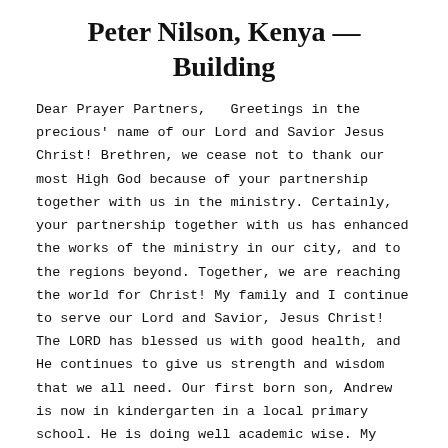Peter Nilson, Kenya — Building
Dear Prayer Partners,   Greetings in the precious' name of our Lord and Savior Jesus Christ! Brethren, we cease not to thank our most High God because of your partnership together with us in the ministry. Certainly, your partnership together with us has enhanced the works of the ministry in our city, and to the regions beyond. Together, we are reaching the world for Christ! My family and I continue to serve our Lord and Savior, Jesus Christ! The LORD has blessed us with good health, and He continues to give us strength and wisdom that we all need. Our first born son, Andrew is now in kindergarten in a local primary school. He is doing well academic wise. My wife is